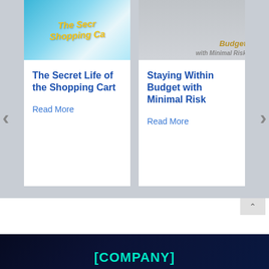[Figure (screenshot): Carousel slider UI showing two article cards. Left card has a blue/yellow book cover image for 'The Secret Life of the Shopping Cart'. Right card has a laptop/budget image for 'Staying Within Budget with Minimal Risk'. Navigation arrows on each side. Pagination dots at bottom.]
The Secret Life of the Shopping Cart
Read More
Staying Within Budget with Minimal Risk
Read More
[COMPANY]